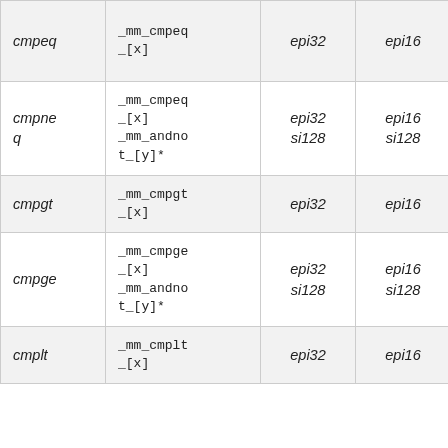|  |  | epi32 | epi16 | epi8 |
| --- | --- | --- | --- | --- |
| cmpeq | _mm_cmpeq_[x] | epi32 | epi16 | epi8 |
| cmpneq | _mm_cmpeq_[x]
_mm_andnot_[y]* | epi32 si128 | epi16 si128 | epi8 si128 |
| cmpgt | _mm_cmpgt_[x] | epi32 | epi16 | epi8 |
| cmpge | _mm_cmpge_[x]
_mm_andnot_[y]* | epi32 si128 | epi16 si128 | epi8 si128 |
| cmplt | _mm_cmplt_[x] | epi32 | epi16 | epi8 |